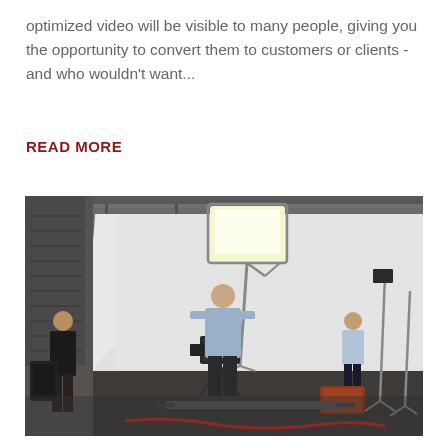optimized video will be visible to many people, giving you the opportunity to convert them to customers or clients - and who wouldn't want...
READ MORE
[Figure (photo): A video production studio scene. A cameraman in a blue shirt operates a professional camera on a tripod/dolly rig under a large softbox light. In the background, a man in a light blue shirt stands against a large white backdrop curved at the floor. A person in dark clothing stands to the left. Various lighting equipment, stands, and cases are visible on the studio floor.]